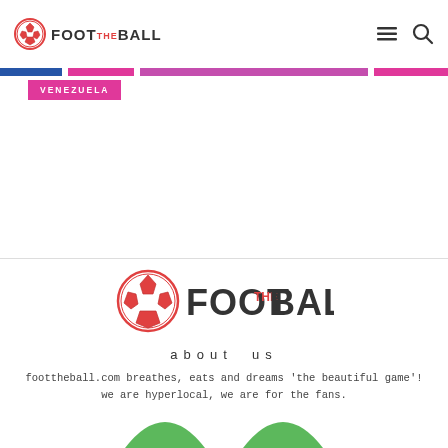FOOT THE BALL
VENEZUELA
[Figure (logo): FootTheBall large logo with soccer ball icon and wordmark]
about us
foottheball.com breathes, eats and dreams 'the beautiful game'! we are hyperlocal, we are for the fans.
[Figure (illustration): Partial green arch shapes visible at bottom of page]